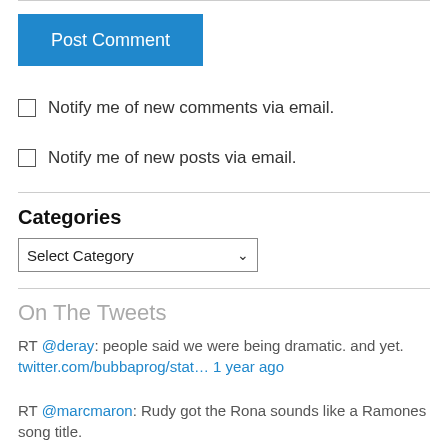[Figure (screenshot): Post Comment button - blue rectangle with white text]
Notify me of new comments via email.
Notify me of new posts via email.
Categories
[Figure (screenshot): Select Category dropdown widget]
On The Tweets
RT @deray: people said we were being dramatic. and yet. twitter.com/bubbaprog/stat… 1 year ago
RT @marcmaron: Rudy got the Rona sounds like a Ramones song title. 1 year ago